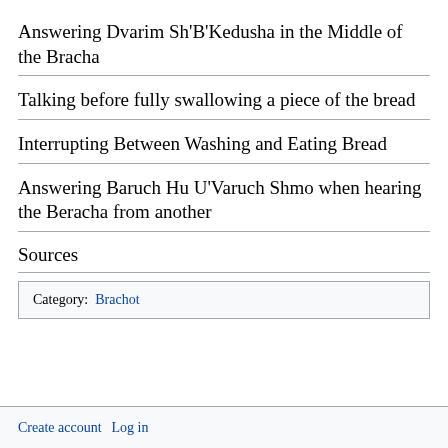Answering Dvarim Sh'B'Kedusha in the Middle of the Bracha
Talking before fully swallowing a piece of the bread
Interrupting Between Washing and Eating Bread
Answering Baruch Hu U'Varuch Shmo when hearing the Beracha from another
Sources
| Category: | Brachot |
| --- | --- |
Create account   Log in